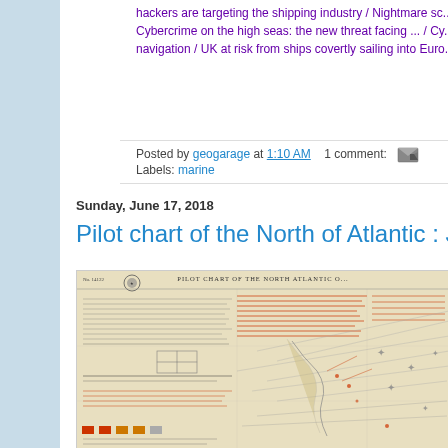hackers are targeting the shipping industry / Nightmare sc... Cybercrime on the high seas: the new threat facing ... / Cy... navigation / UK at risk from ships covertly sailing into Euro...
Posted by geogarage at 1:10 AM   1 comment:
Labels: marine
Sunday, June 17, 2018
Pilot chart of the North of Atlantic : Ju...
[Figure (map): Pilot Chart of the North Atlantic Ocean map showing navigation routes, wind patterns, and maritime data with text annotations in red and black on an aged paper background]